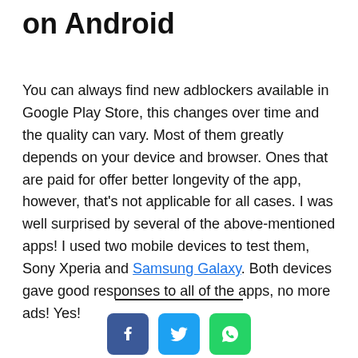on Android
You can always find new adblockers available in Google Play Store, this changes over time and the quality can vary. Most of them greatly depends on your device and browser. Ones that are paid for offer better longevity of the app, however, that's not applicable for all cases. I was well surprised by several of the above-mentioned apps! I used two mobile devices to test them, Sony Xperia and Samsung Galaxy. Both devices gave good responses to all of the apps, no more ads! Yes!
[Figure (infographic): Social sharing icons: Facebook (dark blue), Twitter (light blue), WhatsApp (green)]